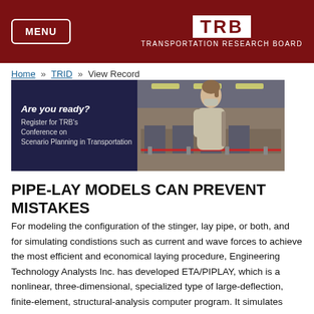MENU | TRB TRANSPORTATION RESEARCH BOARD
Home » TRID » View Record
[Figure (photo): Banner advertisement: Are you ready? Register for TRB's Conference on Scenario Planning in Transportation. Shows a masked traveler in an airport terminal.]
PIPE-LAY MODELS CAN PREVENT MISTAKES
For modeling the configuration of the stinger, lay pipe, or both, and for simulating condistions such as current and wave forces to achieve the most efficient and economical laying procedure, Engineering Technology Analysts Inc. has developed ETA/PIPLAY, which is a nonlinear, three-dimensional, specialized type of large-deflection, finite-element, structural-analysis computer program. It simulates